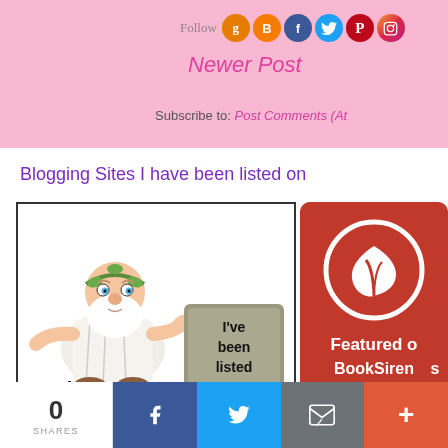Follow | Newer Post
Subscribe to: Post Comments (At
Blogging Sites I have been listed on
[Figure (illustration): Cartoon of a Greek god/philosopher figure in white robe holding a stone tablet that reads 'I've been listed', with text 'on the' at the bottom]
[Figure (logo): Red rounded rectangle with white circle containing a leaf/BookSirens logo, text 'Featured on BookSirens']
[Figure (infographic): Bottom social share bar with 0 SHARES count, Facebook, Twitter, Email, and More buttons]